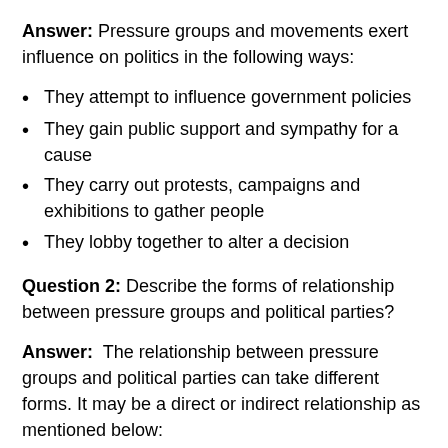Answer: Pressure groups and movements exert influence on politics in the following ways:
They attempt to influence government policies
They gain public support and sympathy for a cause
They carry out protests, campaigns and exhibitions to gather people
They lobby together to alter a decision
Question 2: Describe the forms of relationship between pressure groups and political parties?
Answer:  The relationship between pressure groups and political parties can take different forms. It may be a direct or indirect relationship as mentioned below: